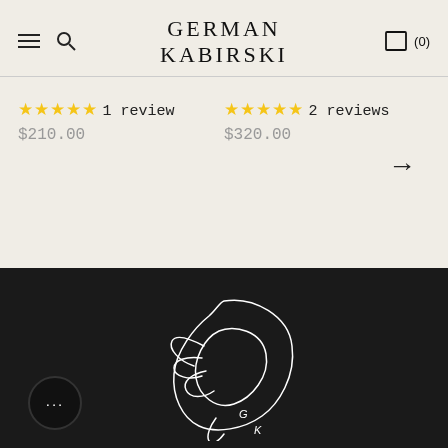GERMAN KABIRSKI
★★★★★ 1 review $210.00
★★★★★ 2 reviews $320.00
[Figure (logo): German Kabirski white line-art logo on black background showing an abstract hand/figure with 'GK' initials]
[Figure (other): Chat support bubble with ellipsis dots, black circle on dark background]